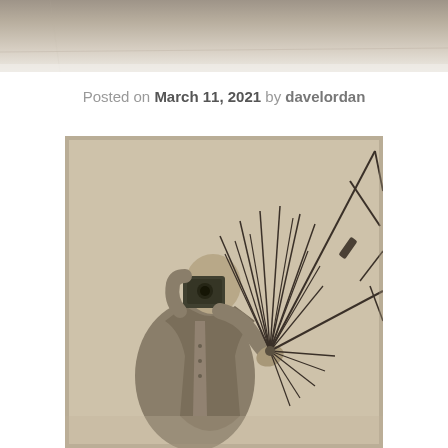[Figure (photo): Top portion of a sepia-toned photograph showing a textured background, cropped at the top of the page]
Posted on March 11, 2021 by davelordan
[Figure (photo): Black and white/sepia photograph of a man in a suit jacket holding a camera to his face with one hand while holding a large wire/antenna sculpture with the other hand. The sculpture consists of many thin rods radiating outward in a star-like pattern. The background is plain and light-colored.]